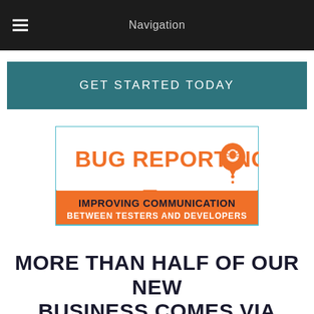Navigation
GET STARTED TODAY
[Figure (illustration): Bug Reporting book cover illustration with orange and teal colors showing a speech bubble with BUG REPORTING text and a bug icon, and an orange banner reading IMPROVING COMMUNICATION BETWEEN TESTERS AND DEVELOPERS]
MORE THAN HALF OF OUR NEW BUSINESS COMES VIA REFERRAL.